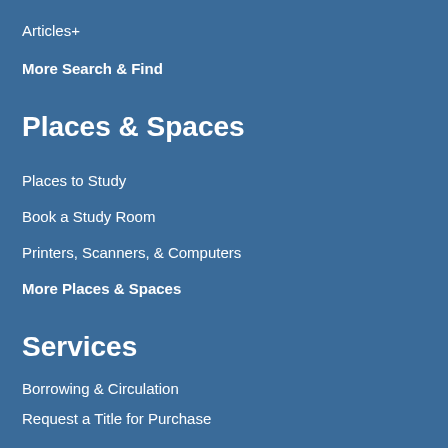Articles+
More Search & Find
Places & Spaces
Places to Study
Book a Study Room
Printers, Scanners, & Computers
More Places & Spaces
Services
Borrowing & Circulation
Request a Title for Purchase
Schedule Instruction Session